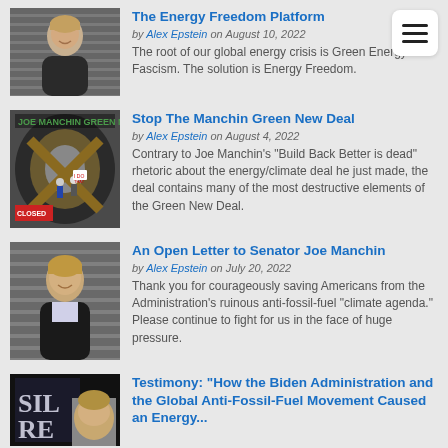[Figure (other): Menu hamburger icon, white rounded box with three horizontal lines]
[Figure (photo): Young blond man in black jacket smiling, in front of slatted background]
The Energy Freedom Platform
by Alex Epstein on August 10, 2022
The root of our global energy crisis is Green Energy Fascism. The solution is Energy Freedom.
[Figure (photo): Tunnel/cave image with wooden X cross and people, political imagery about Green New Deal]
Stop The Manchin Green New Deal
by Alex Epstein on August 4, 2022
Contrary to Joe Manchin's "Build Back Better is dead" rhetoric about the energy/climate deal he just made, the deal contains many of the most destructive elements of the Green New Deal.
[Figure (photo): Young blond man smiling in front of slatted background]
An Open Letter to Senator Joe Manchin
by Alex Epstein on July 20, 2022
Thank you for courageously saving Americans from the Administration's ruinous anti-fossil-fuel “climate agenda.” Please continue to fight for us in the face of huge pressure.
[Figure (photo): Dark image with text SIL and RE partially visible, fossil fuel related imagery]
Testimony: "How the Biden Administration and the Global Anti-Fossil-Fuel Movement Caused an Energy...